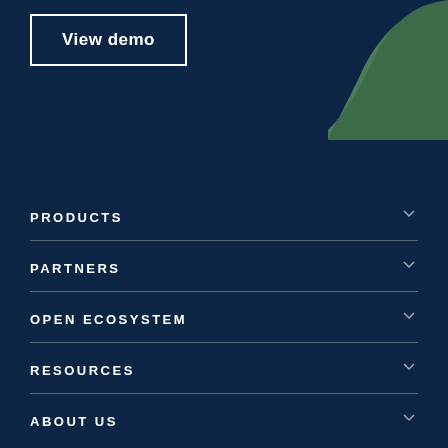[Figure (illustration): Dark navy blue background with a green arc/curved shape in the top-right corner]
View demo
PRODUCTS
PARTNERS
OPEN ECOSYSTEM
RESOURCES
ABOUT US